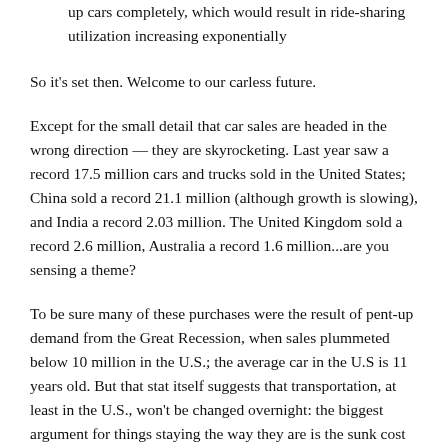up cars completely, which would result in ride-sharing utilization increasing exponentially
So it's set then. Welcome to our carless future.
Except for the small detail that car sales are headed in the wrong direction — they are skyrocketing. Last year saw a record 17.5 million cars and trucks sold in the United States; China sold a record 21.1 million (although growth is slowing), and India a record 2.03 million. The United Kingdom sold a record 2.6 million, Australia a record 1.6 million...are you sensing a theme?
To be sure many of these purchases were the result of pent-up demand from the Great Recession, when sales plummeted below 10 million in the U.S.; the average car in the U.S is 11 years old. But that stat itself suggests that transportation, at least in the U.S., won't be changed overnight: the biggest argument for things staying the way they are is the sunk cost in your driveway.